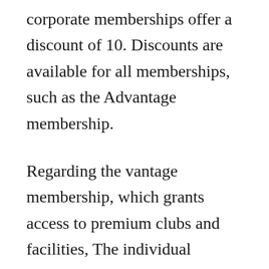corporate memberships offer a discount of 10. Discounts are available for all memberships, such as the Advantage membership.
Regarding the vantage membership, which grants access to premium clubs and facilities, The individual membership begins at just the price of PS117 per month. Similar to an ordinary membership, there are discounts of 20percent and 10 percent for couple